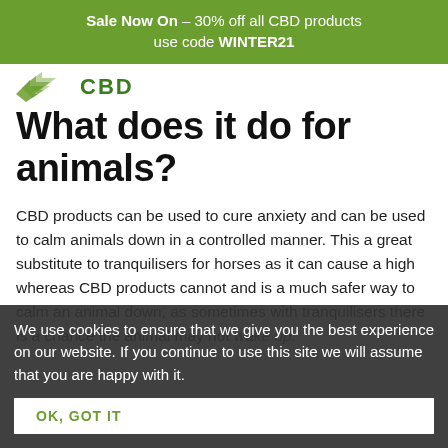Sale Now On – 30% off all CBD products use code WINTER21
[Figure (logo): CBD brand logo with green leaf/arrow icon and text CBD]
What does it do for animals?
CBD products can be used to cure anxiety and can be used to calm animals down in a controlled manner. This a great substitute to tranquilisers for horses as it can cause a high whereas CBD products cannot and is a much safer way to calm an animal down, as sometimes with tranquilisers there is a chance the animal may not wake up.
We use cookies to ensure that we give you the best experience on our website. If you continue to use this site we will assume that you are happy with it.